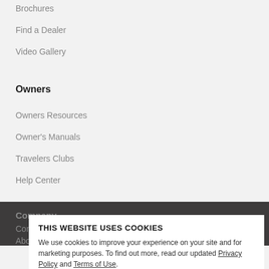Brochures
Find a Dealer
Video Gallery
Owners
Owners Resources
Owner's Manuals
Travelers Clubs
Help Center
Company
Contact
About
THIS WEBSITE USES COOKIES
We use cookies to improve your experience on your site and for marketing purposes. To find out more, read our updated Privacy Policy and Terms of Use.